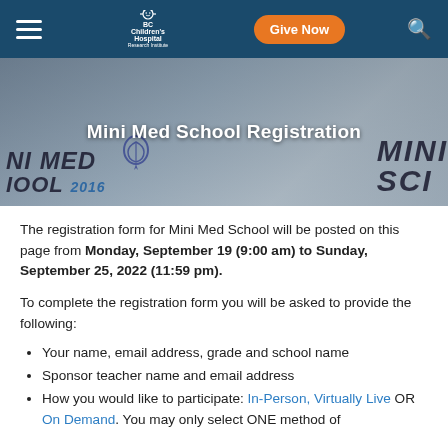BC Children's Hospital Research Institute — Give Now
[Figure (photo): Hero banner image showing Mini Med School 2016 signage with a brain illustration, overlaid with text 'Mini Med School Registration']
Mini Med School Registration
The registration form for Mini Med School will be posted on this page from Monday, September 19 (9:00 am) to Sunday, September 25, 2022 (11:59 pm).
To complete the registration form you will be asked to provide the following:
Your name, email address, grade and school name
Sponsor teacher name and email address
How you would like to participate: In-Person, Virtually Live OR On Demand. You may only select ONE method of